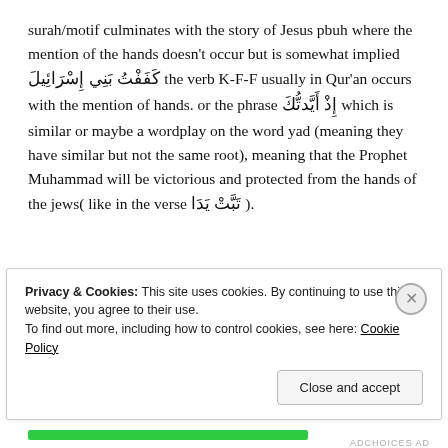surah/motif culminates with the story of Jesus pbuh where the mention of the hands doesn't occur but is somewhat implied كَفَفْتُ بَنِي إِسْرَائِيلَ the verb K-F-F usually in Qur'an occurs with the mention of hands. or the phrase إِذْ أَيَّدتُّكَ which is similar or maybe a wordplay on the word yad (meaning they have similar but not the same root), meaning that the Prophet Muhammad will be victorious and protected from the hands of the jews( like in the verse تَبَّتْ يَدَا ).
Privacy & Cookies: This site uses cookies. By continuing to use this website, you agree to their use.
To find out more, including how to control cookies, see here: Cookie Policy
Close and accept